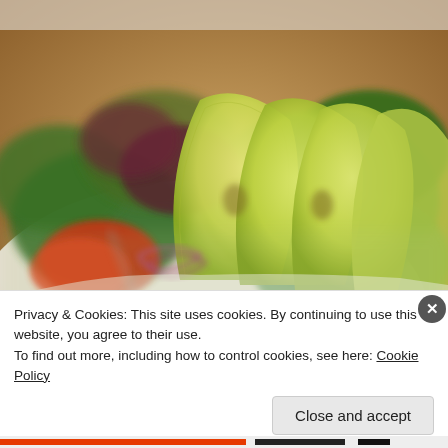[Figure (photo): Close-up photograph of a fresh salad with avocado slices, mixed greens, red onion, and tomato on a white plate. Warm brown background. Image is blurred/bokeh style.]
Privacy & Cookies: This site uses cookies. By continuing to use this website, you agree to their use.
To find out more, including how to control cookies, see here: Cookie Policy
Close and accept